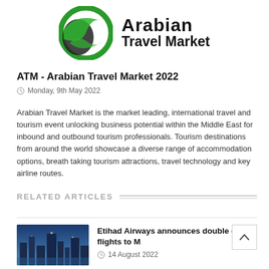[Figure (logo): Arabian Travel Market logo — circular green and black emblem on left, bold text 'Arabian Travel Market' on right]
ATM - Arabian Travel Market 2022
Monday, 9th May 2022
Arabian Travel Market is the market leading, international travel and tourism event unlocking business potential within the Middle East for inbound and outbound tourism professionals. Tourism destinations from around the world showcase a diverse range of accommodation options, breath taking tourism attractions, travel technology and key airline routes.
RELATED ARTICLES
[Figure (photo): City skyline at dusk with blue-toned buildings — article thumbnail for Etihad Airways story]
Etihad Airways announces double daily flights to M
14 August 2022